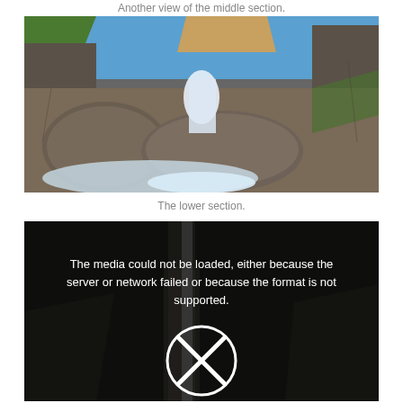Another view of the middle section.
[Figure (photo): Photograph of a rocky canyon waterfall with large boulders, rushing white water, green vegetation and blue sky.]
The lower section.
[Figure (photo): Video player showing a media error: 'The media could not be loaded, either because the server or network failed or because the format is not supported.' with an X close button over a dark waterfall background.]